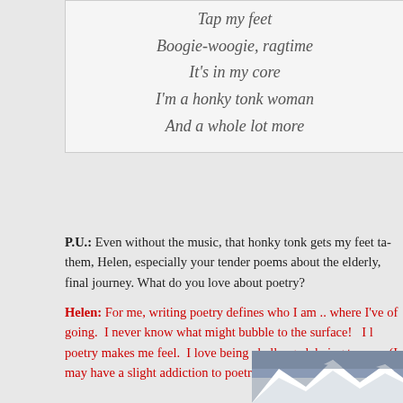Tap my feet
Boogie-woogie, ragtime
It's in my core
I'm a honky tonk woman
And a whole lot more
P.U.: Even without the music, that honky tonk gets my feet tapping. I love them, Helen, especially your tender poems about the elderly, and their final journey. What do you love about poetry?
Helen: For me, writing poetry defines who I am .. where I've been and where of going. I never know what might bubble to the surface! I love what poetry makes me feel. I love being challenged, being transported (I may have a slight addiction to poetry?)
[Figure (photo): Snow-covered mountain peaks under a grey sky, panoramic view]